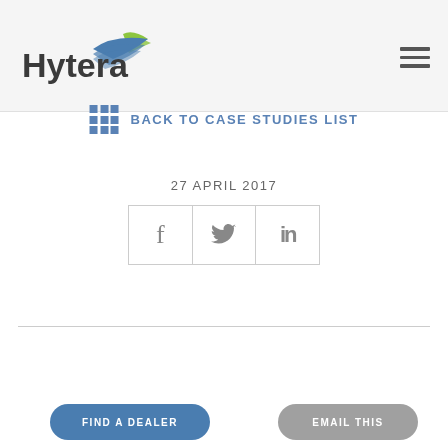Hytera
BACK TO CASE STUDIES LIST
27 APRIL 2017
[Figure (other): Social media sharing buttons: Facebook (f), Twitter (bird icon), LinkedIn (in)]
FIND A DEALER
EMAIL THIS